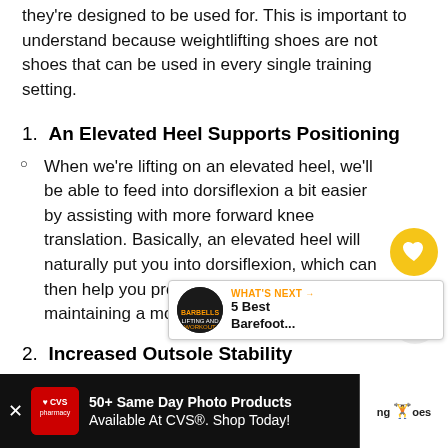they're designed to be used for. This is important to understand because weightlifting shoes are not shoes that can be used in every single training setting.
1. An Elevated Heel Supports Positioning
When we're lifting on an elevated heel, we'll be able to feed into dorsiflexion a bit easier by assisting with more forward knee translation. Basically, an elevated heel will naturally put you into dorsiflexion, which can then help you produce stability by maintaining a more upright torso position.
2. Increased Outsole Stability
When training heavy, you want to feel stable...